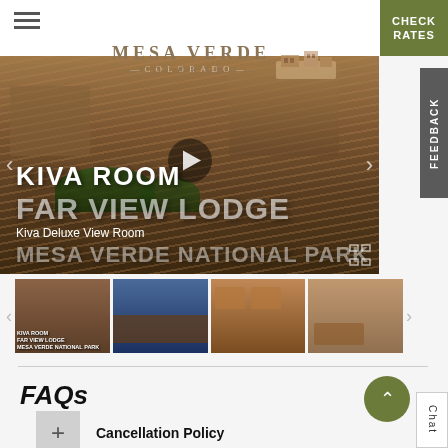Mesa Verde Colorado — Check Rates
[Figure (screenshot): Hero image slideshow showing Kiva Room at Far View Lodge, Mesa Verde National Park. Displays stone cliff dwellings with overlay text: KIVA ROOM, FAR VIEW LODGE, MESA VERDE NATIONAL PARK, and subtitle 'Kiva Deluxe View Room'. Four thumbnail images shown below the main hero.]
FAQs
Cancellation Policy
Check-In & Check-Out Policy